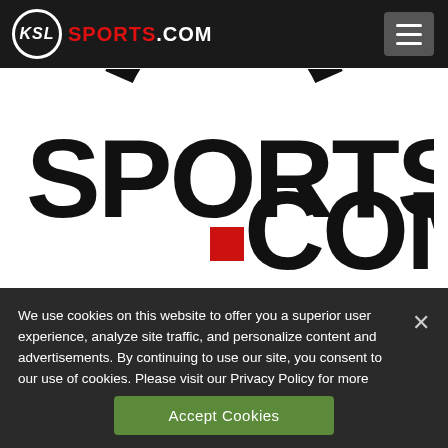[Figure (logo): KSL Sports.com website header with KSL circle logo, SPORTS.COM text in red and white, and hamburger menu button]
[Figure (logo): Large KSL Sports.com logo: partial circle/target shape above large bold text reading SPORTS.COM with a red square dot]
We use cookies on this website to offer you a superior user experience, analyze site traffic, and personalize content and advertisements. By continuing to use our site, you consent to our use of cookies. Please visit our Privacy Policy for more information.
Accept Cookies